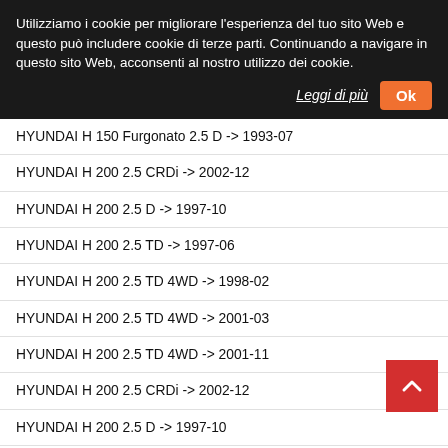Utilizziamo i cookie per migliorare l'esperienza del tuo sito Web e questo può includere cookie di terze parti. Continuando a navigare in questo sito Web, acconsenti al nostro utilizzo dei cookie.
Leggi di più
Ok
HYUNDAI H 150 Furgonato 2.5 D -> 1993-07
HYUNDAI H 200 2.5 CRDi -> 2002-12
HYUNDAI H 200 2.5 D -> 1997-10
HYUNDAI H 200 2.5 TD -> 1997-06
HYUNDAI H 200 2.5 TD 4WD -> 1998-02
HYUNDAI H 200 2.5 TD 4WD -> 2001-03
HYUNDAI H 200 2.5 TD 4WD -> 2001-11
HYUNDAI H 200 2.5 CRDi -> 2002-12
HYUNDAI H 200 2.5 D -> 1997-10
HYUNDAI H 200 2.5 TD -> 1997-06
HYUNDAI H 200 2.5 TD 4WD -> 1998-02
HYUNDAI H 200 2.5 TD 4WD -> 2001-03
HYUNDAI H 200 2.5 TD 4WD -> 2001-11